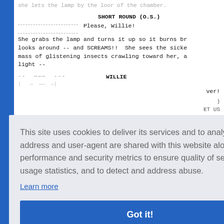she lets the lamp by the loor of the chamber.
SHORT ROUND (O.S.)
Please, Willie!
She grabs the lamp and turns it up so it burns br... looks around -- and SCREAMS!!  She sees the sicke... mass of glistening insects crawling toward her, a... light --
WILLIE
...ver!
...ET US
...!!
...up and ...e a ful-
crum release.  Look around!
[Figure (screenshot): Cookie consent dialog overlay: 'This site uses cookies to deliver its services and to analyze traffic. Your IP address and user-agent are shared with this website along with performance and security metrics to ensure quality of service, generate usage statistics, and to detect and address abuse. Learn more [Got it! button]']